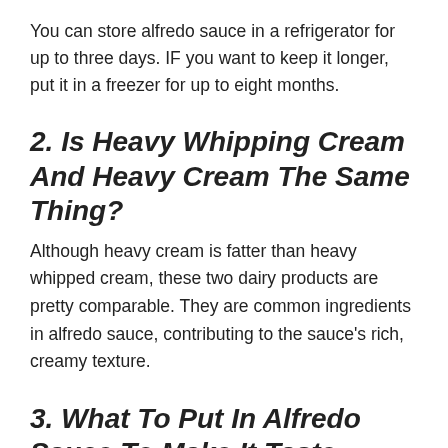You can store alfredo sauce in a refrigerator for up to three days. IF you want to keep it longer, put it in a freezer for up to eight months.
2. Is Heavy Whipping Cream And Heavy Cream The Same Thing?
Although heavy cream is fatter than heavy whipped cream, these two dairy products are pretty comparable. They are common ingredients in alfredo sauce, contributing to the sauce's rich, creamy texture.
3. What To Put In Alfredo Sauce To Make It Taste Better?